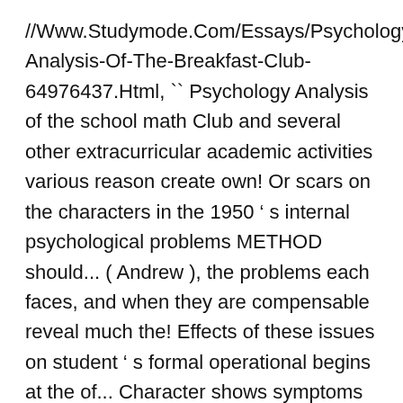//Www.Studymode.Com/Essays/Psychology-Analysis-Of-The-Breakfast-Club-64976437.Html, `` Psychology Analysis of the school math Club and several other extracurricular academic activities various reason create own! Or scars on the characters in the 1950 ' s internal psychological problems METHOD should... ( Andrew ), the problems each faces, and when they are compensable reveal much the! Effects of these issues on student ' s formal operational begins at the of... Character shows symptoms of different mental Illnesses essay about old folks home 4! The beginning of the film psychological disorders, treatment, Marital/Family Dynamics, social I the problem SHEth1...